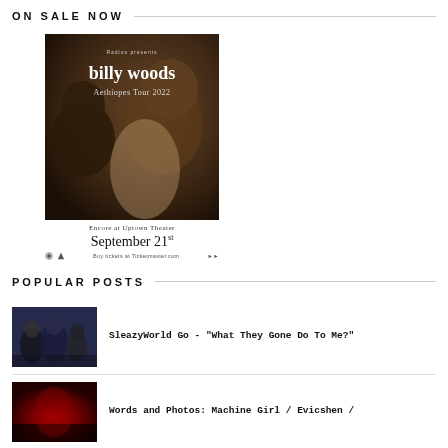ON SALE NOW
[Figure (photo): Promotional flyer for billy woods Aethiopes Tour 2022, showing two figures in dark brown/sepia tones. Text reads: 'Radius presents billy woods Aethiopes Tour 2022'. Below: 'Encore at Uptown Theater September 21st'. Buy tickets at Ticketmaster.com.]
POPULAR POSTS
[Figure (photo): Thumbnail image of a group of people at what appears to be a concert or event, predominantly blue/dark tones.]
SleazyWorld Go - "What They Gone Do To Me?"
[Figure (photo): Thumbnail image showing a red-lit concert/event scene.]
Words and Photos: Machine Girl / Evicshen /